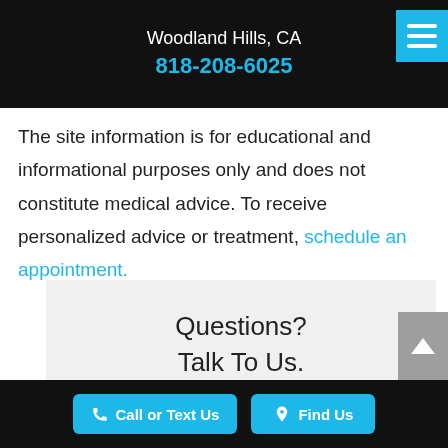Woodland Hills, CA
818-208-6025
The site information is for educational and informational purposes only and does not constitute medical advice. To receive personalized advice or treatment, schedule an appointment.
Questions?
Talk To Us.
Call or Text Us   Find Us